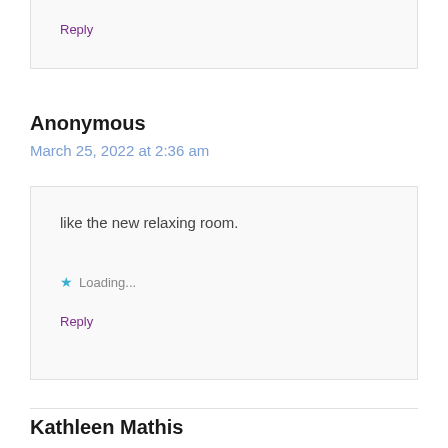Reply
Anonymous
March 25, 2022 at 2:36 am
like the new relaxing room.
Loading...
Reply
Kathleen Mathis